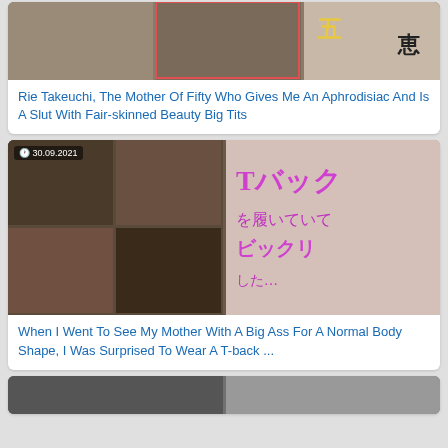[Figure (photo): Thumbnail collage for adult video product - first card, partially cropped at top]
Rie Takeuchi, The Mother Of Fifty Who Gives Me An Aphrodisiac And Is A Slut With Fair-skinned Beauty Big Tits
[Figure (photo): Thumbnail collage for adult video product dated 30.09.2021 - second card, Japanese text visible]
When I Went To See My Mother With A Big Ass For A Normal Body Shape, I Was Surprised To Wear A T-back ...
[Figure (photo): Thumbnail collage for adult video product - third card, partially cropped at bottom]